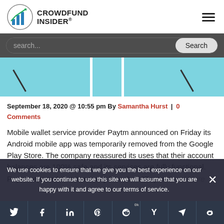[Figure (logo): Crowdfund Insider logo with bar chart icon]
[Figure (screenshot): Website screenshot showing light blue mobile app interface panels]
September 18, 2020 @ 10:55 pm By Samantha Hurst | 0 Comments
Mobile wallet service provider Paytm announced on Friday its Android mobile app was temporarily removed from the Google Play Store. The company reassured its uses that their account balances are 100% safe and its services are fully functional. Paytm reported that it recently launched "Paytm... Read More
We use cookies to ensure that we give you the best experience on our website. If you continue to use this site we will assume that you are happy with it and agree to our terms of service.
[Figure (infographic): Social sharing buttons: Twitter, Facebook, LinkedIn, Pinterest, Reddit, Hacker News, Telegram, Weibo]